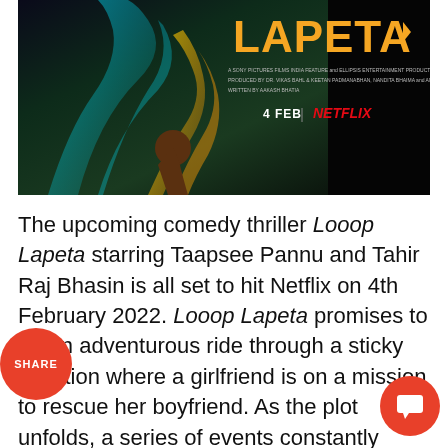[Figure (photo): Movie poster for Looop Lapeta on Netflix featuring a figure on a dark stylized background with orange title text and Netflix branding. Text reads: 4 FEB | NETFLIX]
The upcoming comedy thriller Looop Lapeta starring Taapsee Pannu and Tahir Raj Bhasin is all set to hit Netflix on 4th February 2022. Looop Lapeta promises to be an adventurous ride through a sticky situation where a girlfriend is on a mission to rescue her boyfriend. As the plot unfolds, a series of events constantly prompts the lovers to make choices that define their fate...